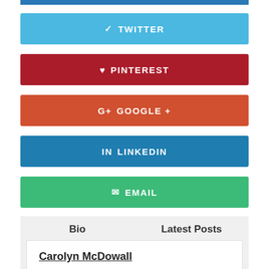[Figure (other): Top blue bar strip]
TWITTER
PINTEREST
GOOGLE +
LINKEDIN
EMAIL
Bio
Latest Posts
Carolyn McDowall
Carolyn McDowall FRSA has gained considerable